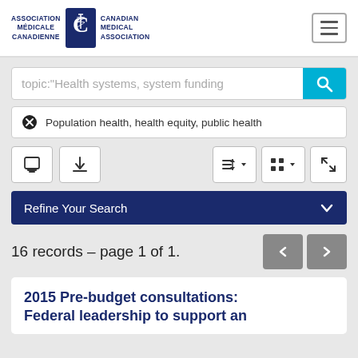[Figure (logo): Canadian Medical Association / Association médicale canadienne logo with caduceus symbol]
topic:"Health systems, system funding
⊗ Population health, health equity, public health
[Figure (screenshot): Toolbar with print, download, sort, view, and expand buttons]
Refine Your Search
16 records – page 1 of 1.
2015 Pre-budget consultations: Federal leadership to support an